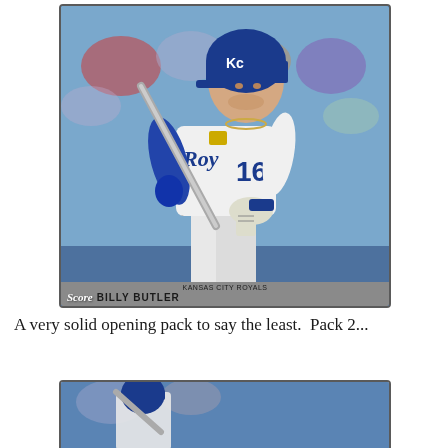[Figure (photo): Baseball trading card showing Billy Butler #16 of the Kansas City Royals in batting stance wearing white Royals uniform with blue accents. Card has team name 'KANSAS CITY ROYALS' and player name 'BILLY BUTLER' at the bottom in a gray bar with Score logo.]
A very solid opening pack to say the least.  Pack 2...
[Figure (photo): Partial view of another baseball trading card, partially cut off at bottom of page.]